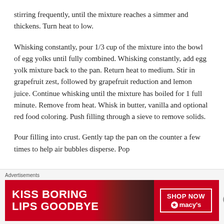stirring frequently, until the mixture reaches a simmer and thickens. Turn heat to low.
Whisking constantly, pour 1/3 cup of the mixture into the bowl of egg yolks until fully combined. Whisking constantly, add egg yolk mixture back to the pan. Return heat to medium. Stir in grapefruit zest, followed by grapefruit reduction and lemon juice. Continue whisking until the mixture has boiled for 1 full minute. Remove from heat. Whisk in butter, vanilla and optional red food coloring. Push filling through a sieve to remove solids.
Pour filling into crust. Gently tap the pan on the counter a few times to help air bubbles disperse. Pop
Advertisements
[Figure (other): Advertisement banner for Macy's lipstick: 'KISS BORING LIPS GOODBYE' with a woman's face and red lips, SHOP NOW button with Macy's star logo]